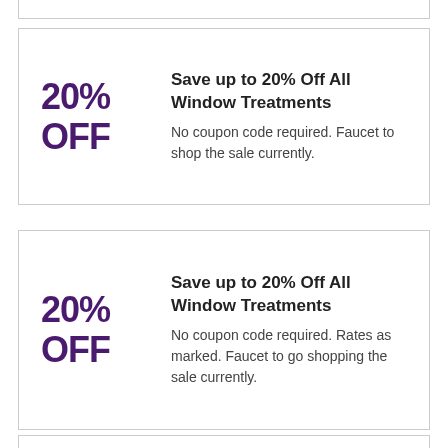20% OFF
Save up to 20% Off All Window Treatments
No coupon code required. Faucet to shop the sale currently.
20% OFF
Save up to 20% Off All Window Treatments
No coupon code required. Rates as marked. Faucet to go shopping the sale currently.